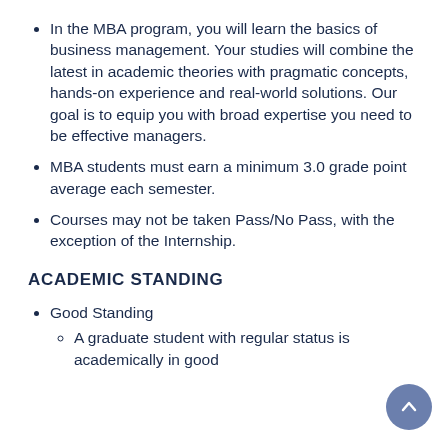In the MBA program, you will learn the basics of business management. Your studies will combine the latest in academic theories with pragmatic concepts, hands-on experience and real-world solutions. Our goal is to equip you with broad expertise you need to be effective managers.
MBA students must earn a minimum 3.0 grade point average each semester.
Courses may not be taken Pass/No Pass, with the exception of the Internship.
ACADEMIC STANDING
Good Standing
A graduate student with regular status is academically in good